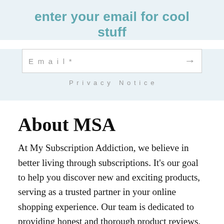enter your email for cool stuff
Email*
Privacy Notice
About MSA
At My Subscription Addiction, we believe in better living through subscriptions. It's our goal to help you discover new and exciting products, serving as a trusted partner in your online shopping experience. Our team is dedicated to providing honest and thorough product reviews, but also empowering the community to learn from each